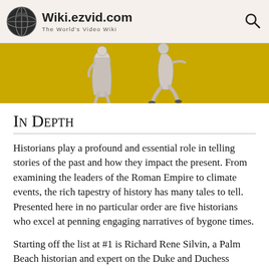Wiki.ezvid.com — The World's Video Wiki
[Figure (illustration): Banner image with yellow/gold background showing two illustrated silver figures in motion, likely ancient or historical characters]
In Depth
Historians play a profound and essential role in telling stories of the past and how they impact the present. From examining the leaders of the Roman Empire to climate events, the rich tapestry of history has many tales to tell. Presented here in no particular order are five historians who excel at penning engaging narratives of bygone times.
Starting off the list at #1 is Richard Rene Silvin, a Palm Beach historian and expert on the Duke and Duchess